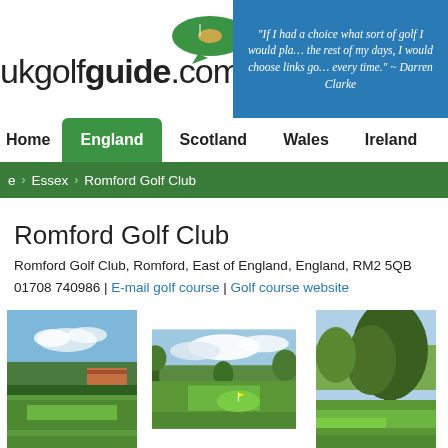[Figure (logo): ukgolfguide.com logo with green speech-bubble golf hole icon]
"If I had a choice what sort of golf I would play the rest of my days, I would choose links golf every time." ~ Darren Clarke
Home | England | Scotland | Wales | Ireland
e > Essex > Romford Golf Club
Romford Golf Club
Romford Golf Club, Romford, East of England, England, RM2 5QB
01708 740986 | E-mail golf course | Golf course website
[Figure (photo): Three side-by-side photos of Romford Golf Club course showing fairways, trees, and green grass under blue sky]